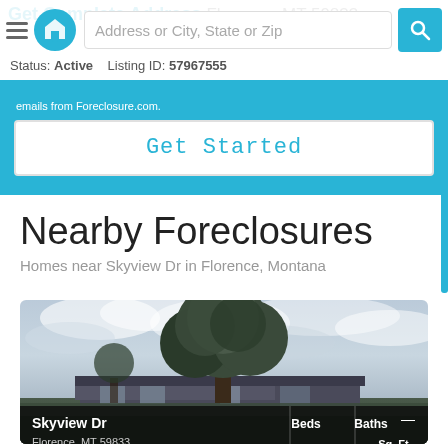Get Complete Address Florence, MT 59833 | Address or City, State or Zip
Status: Active    Listing ID: 57967555
emails from Foreclosure.com.
Get Started
Nearby Foreclosures
Homes near Skyview Dr in Florence, Montana
[Figure (photo): Exterior photo of property on Skyview Dr, Florence MT 59833, showing a large tree in front of a low ranch-style house under a cloudy sky]
Skyview Dr
Florence, MT 59833
Beds  Baths  —
Sq. Ft.